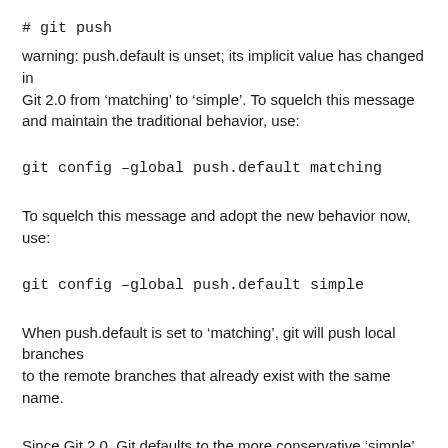# git push
warning: push.default is unset; its implicit value has changed in
Git 2.0 from ‘matching’ to ‘simple’. To squelch this message and maintain the traditional behavior, use:
git config –global push.default matching
To squelch this message and adopt the new behavior now, use:
git config –global push.default simple
When push.default is set to ‘matching’, git will push local branches
to the remote branches that already exist with the same name.
Since Git 2.0, Git defaults to the more conservative ‘simple’ behavior, which...